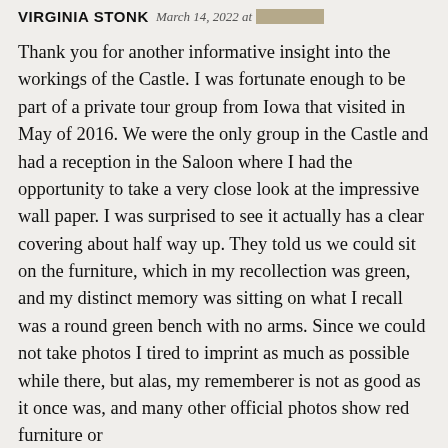VIRGINIA STONK March 14, 2022 at [redacted]
Thank you for another informative insight into the workings of the Castle. I was fortunate enough to be part of a private tour group from Iowa that visited in May of 2016. We were the only group in the Castle and had a reception in the Saloon where I had the opportunity to take a very close look at the impressive wall paper. I was surprised to see it actually has a clear covering about half way up. They told us we could sit on the furniture, which in my recollection was green, and my distinct memory was sitting on what I recall was a round green bench with no arms. Since we could not take photos I tired to imprint as much as possible while there, but alas, my rememberer is not as good as it once was, and many other official photos show red furniture or